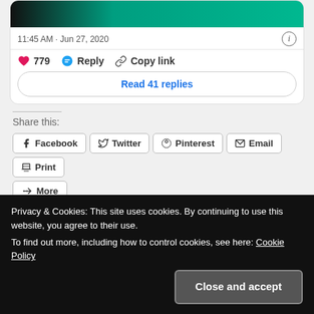[Figure (screenshot): Tweet card showing image strip at top, timestamp 11:45 AM · Jun 27, 2020, like/reply/copy link actions, and Read 41 replies button]
11:45 AM · Jun 27, 2020
779  Reply  Copy link
Read 41 replies
Share this:
Facebook  Twitter  Pinterest  Email  Print
More
Related
Privacy & Cookies: This site uses cookies. By continuing to use this website, you agree to their use.
To find out more, including how to control cookies, see here: Cookie Policy
Close and accept